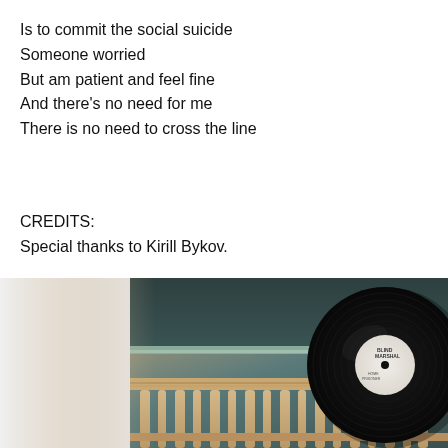Is to commit the social suicide
Someone worried
But am patient and feel fine
And there's no need for me
There is no need to cross the line
CREDITS:
Special thanks to Kirill Bykov.
[Figure (photo): Album cover image showing a classical building staircase railing with ornate pillars, overlapping with a vinyl record (black disc with white label reading 'BLIND MARSHAL') partially visible on the right side.]